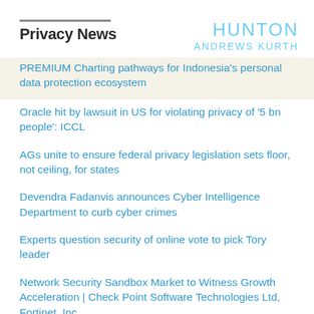Privacy News
[Figure (logo): Hunton Andrews Kurth logo in light blue text]
PREMIUM Charting pathways for Indonesia's personal data protection ecosystem
Oracle hit by lawsuit in US for violating privacy of '5 bn people': ICCL
AGs unite to ensure federal privacy legislation sets floor, not ceiling, for states
Devendra Fadanvis announces Cyber Intelligence Department to curb cyber crimes
Experts question security of online vote to pick Tory leader
Network Security Sandbox Market to Witness Growth Acceleration | Check Point Software Technologies Ltd, Fortinet, Inc.
7 Benefits of Data Organization P...